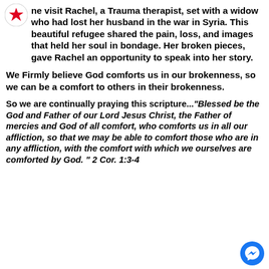[Figure (logo): Circular logo with a red star on white background]
...ne visit Rachel, a Trauma therapist, set with a widow who had lost her husband in the war in Syria. This beautiful refugee shared the pain, loss, and images that held her soul in bondage. Her broken pieces, gave Rachel an opportunity to speak into her story.
We Firmly believe God comforts us in our brokenness, so we can be a comfort to others in their brokenness.
So we are continually praying this scripture..."Blessed be the God and Father of our Lord Jesus Christ, the Father of mercies and God of all comfort, who comforts us in all our affliction, so that we may be able to comfort those who are in any affliction, with the comfort with which we ourselves are comforted by God. " 2 Cor. 1:3-4
[Figure (logo): Facebook Messenger blue circle badge]